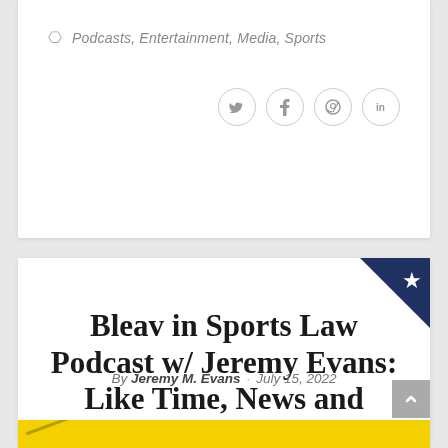Podcasts, Entertainment, Media, Sports
[Figure (other): Social media share buttons: Twitter, Facebook, Pinterest, LinkedIn]
Bleav in Sports Law Podcast w/ Jeremy Evans: Like Time, News and Content Will Wait for No One
By Jeremy M. Evans · July 15, 2022
[Figure (other): Yellow banner/image at bottom of card, partially visible with a diagonal line graphic]